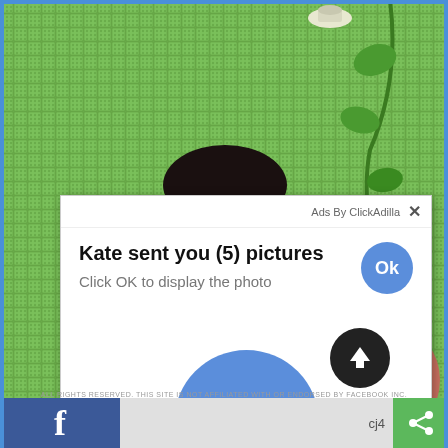[Figure (screenshot): Screenshot of a webpage showing a pop-up ad overlay on a photo background. The ad reads 'Kate sent you (5) pictures' with 'Click OK to display the photo' and two blue circular Ok buttons. Below is a Facebook-style toolbar with fb icon, share icon, and 'cj4' text.]